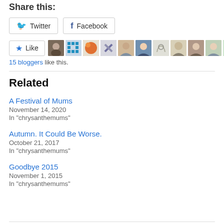Share this:
Twitter  Facebook
[Figure (other): Like button with 11 blogger avatars shown in a row]
15 bloggers like this.
Related
A Festival of Mums
November 14, 2020
In "chrysanthemums"
Autumn. It Could Be Worse.
October 21, 2017
In "chrysanthemums"
Goodbye 2015
November 1, 2015
In "chrysanthemums"